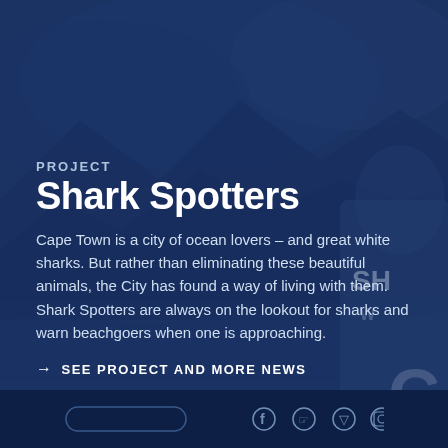[Figure (photo): Dark blue-tinted background showing ocean waves and mountains with a person wearing a Shark Spotters vest on the right side]
PROJECT
Shark Spotters
Cape Town is a city of ocean lovers – and great white sharks. But rather than eliminating these beautiful animals, the City has found a way of living with them. Shark Spotters are always on the lookout for sharks and warn beachgoers when one is approaching.
→ SEE PROJECT AND MORE NEWS
Social media icons: Facebook, Twitter, Vimeo, Instagram